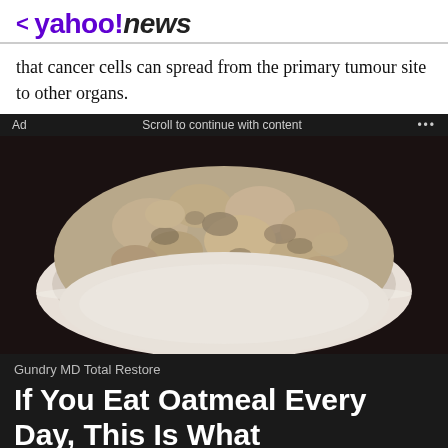< yahoo!news
that cancer cells can spread from the primary tumour site to other organs.
[Figure (photo): Advertisement banner showing a white bowl filled with oatmeal/porridge on a dark background, for Gundry MD Total Restore ad.]
Gundry MD Total Restore
If You Eat Oatmeal Every Day, This Is What